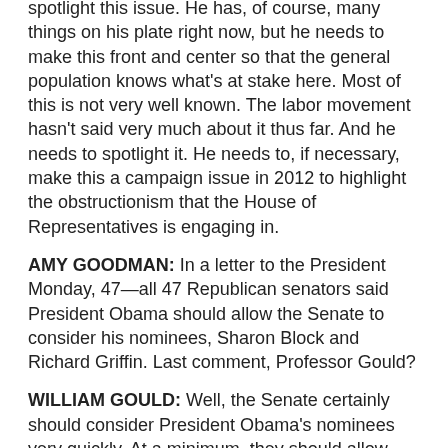spotlight this issue. He has, of course, many things on his plate right now, but he needs to make this front and center so that the general population knows what's at stake here. Most of this is not very well known. The labor movement hasn't said very much about it thus far. And he needs to spotlight it. He needs to, if necessary, make this a campaign issue in 2012 to highlight the obstructionism that the House of Representatives is engaging in.
AMY GOODMAN: In a letter to the President Monday, 47—all 47 Republican senators said President Obama should allow the Senate to consider his nominees, Sharon Block and Richard Griffin. Last comment, Professor Gould?
WILLIAM GOULD: Well, the Senate certainly should consider President Obama's nominees very quickly. At a minimum, they should allow him to make a recess appointment and not to be moved around and pressured improperly, in my view, by the House of Representatives.
AMY GOODMAN: Professor Gould, I want to thank you for being with us, law professor at Stanford University, served as chair of the NLRB from 1994 to '98, author of the book